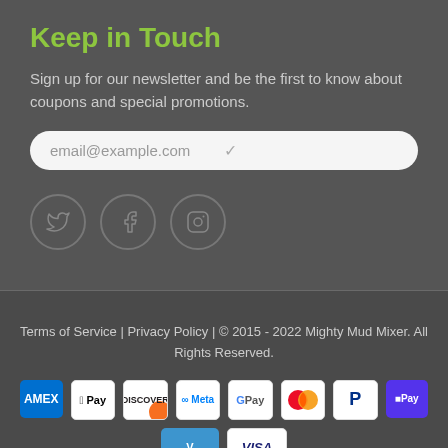Keep in Touch
Sign up for our newsletter and be the first to know about coupons and special promotions.
[Figure (screenshot): Email input field with placeholder text 'email@example.com' and a checkmark icon, styled as a rounded white input box]
[Figure (infographic): Three social media icon circles: Twitter (bird icon), Facebook (f icon), Instagram (camera icon), all with grey outlines on dark background]
Terms of Service | Privacy Policy | © 2015 - 2022 Mighty Mud Mixer. All Rights Reserved.
[Figure (infographic): Payment method icons: AMEX, Apple Pay, Discover, Meta Pay, Google Pay, Mastercard, PayPal, Shop Pay, Venmo, Visa]